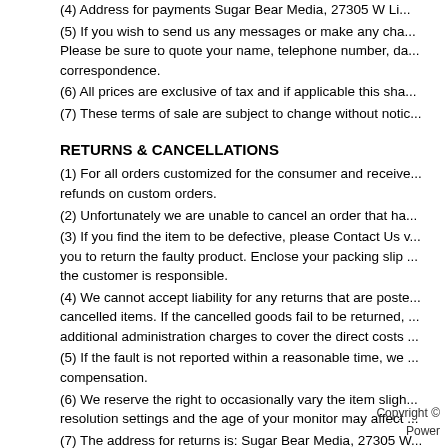(4) Address for payments Sugar Bear Media, 27305 W Li...
(5) If you wish to send us any messages or make any cha... Please be sure to quote your name, telephone number, da... correspondence.
(6) All prices are exclusive of tax and if applicable this sha...
(7) These terms of sale are subject to change without notic...
RETURNS & CANCELLATIONS
(1) For all orders customized for the consumer and receive... refunds on custom orders.
(2) Unfortunately we are unable to cancel an order that ha...
(3) If you find the item to be defective, please Contact Us v... you to return the faulty product. Enclose your packing slip ... the customer is responsible.
(4) We cannot accept liability for any returns that are poste... cancelled items. If the cancelled goods fail to be returned, ... additional administration charges to cover the direct costs ...
(5) If the fault is not reported within a reasonable time, we ... compensation.
(6) We reserve the right to occasionally vary the item sligh... resolution settings and the age of your monitor may affect ...
(7) The address for returns is: Sugar Bear Media, 27305 W...
Copyright ©
Power